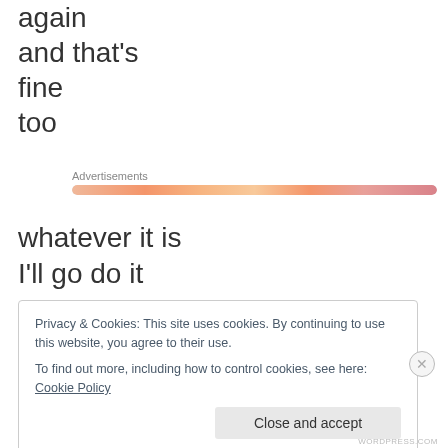again
and that's
fine
too
[Figure (other): Advertisements progress/loading bar with orange-pink gradient fill on grey background]
whatever it is
I'll go do it
Privacy & Cookies: This site uses cookies. By continuing to use this website, you agree to their use.
To find out more, including how to control cookies, see here: Cookie Policy
Close and accept
WORDPRESS.COM